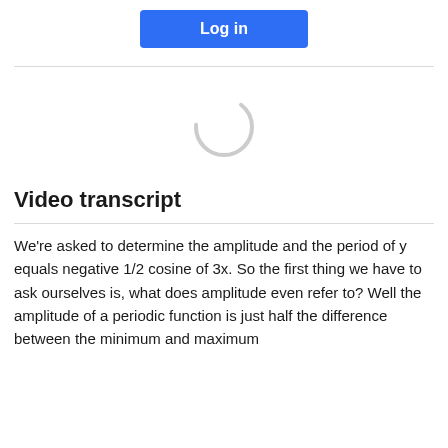[Figure (screenshot): A blue 'Log in' button centered near the top of the page]
[Figure (other): A circular loading spinner (partial arc) centered in a white area, indicating content is loading]
Video transcript
We're asked to determine the amplitude and the period of y equals negative 1/2 cosine of 3x. So the first thing we have to ask ourselves is, what does amplitude even refer to? Well the amplitude of a periodic function is just half the difference between the minimum and maximum